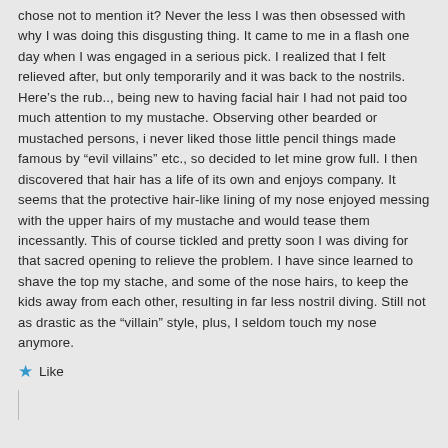chose not to mention it? Never the less I was then obsessed with why I was doing this disgusting thing. It came to me in a flash one day when I was engaged in a serious pick. I realized that I felt relieved after, but only temporarily and it was back to the nostrils. Here’s the rub.., being new to having facial hair I had not paid too much attention to my mustache. Observing other bearded or mustached persons, i never liked those little pencil things made famous by “evil villains” etc., so decided to let mine grow full. I then discovered that hair has a life of its own and enjoys company. It seems that the protective hair-like lining of my nose enjoyed messing with the upper hairs of my mustache and would tease them incessantly. This of course tickled and pretty soon I was diving for that sacred opening to relieve the problem. I have since learned to shave the top my stache, and some of the nose hairs, to keep the kids away from each other, resulting in far less nostril diving. Still not as drastic as the “villain” style, plus, I seldom touch my nose anymore.
Like